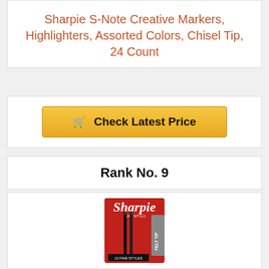Sharpie S-Note Creative Markers, Highlighters, Assorted Colors, Chisel Tip, 24 Count
[Figure (other): Golden 'Check Latest Price' button with shopping cart icon]
Rank No. 9
[Figure (photo): Sharpie Felt Tip Pens product box, black, 12 count]